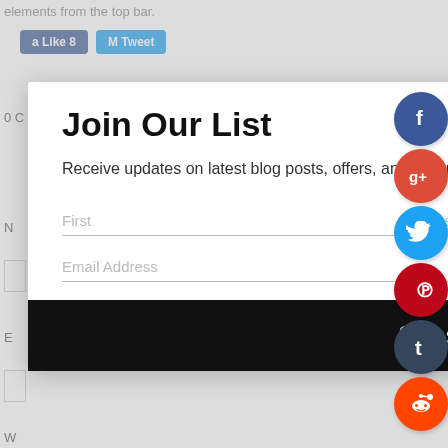elements from the top bar.
[Figure (screenshot): Partial background page with Like and Tweet buttons visible]
Join Our List
Receive updates on latest blog posts, offers, and exclusive giveaways when you sign up for our newsletter.
First
Last
Email Address
Subscribe
[Figure (infographic): Social media icon buttons: Facebook, Google+, Twitter, Pinterest, Tumblr, Reddit arranged vertically on the right side]